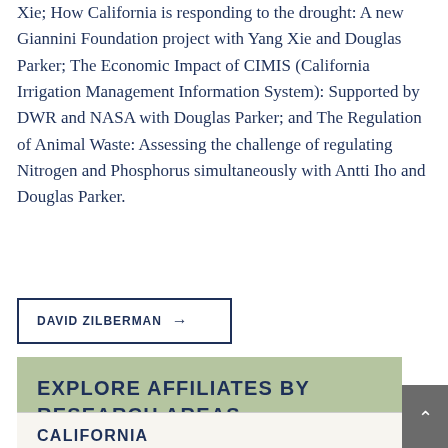Xie; How California is responding to the drought: A new Giannini Foundation project with Yang Xie and Douglas Parker; The Economic Impact of CIMIS (California Irrigation Management Information System): Supported by DWR and NASA with Douglas Parker; and The Regulation of Animal Waste: Assessing the challenge of regulating Nitrogen and Phosphorus simultaneously with Antti Iho and Douglas Parker.
DAVID ZILBERMAN →
EXPLORE AFFILIATES BY RESEARCH AREAS
CALIFORNIA